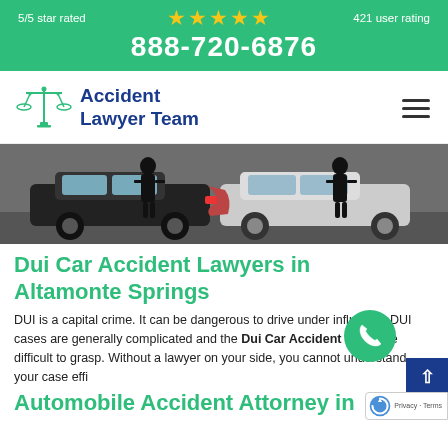5/5 star rated ★★★★★ 421 user rating
888-720-6876
[Figure (logo): Accident Lawyer Team logo with scales of justice icon in green and blue text]
[Figure (photo): Two people standing next to crashed cars after an automobile accident, viewed from behind]
Dui Car Accident Lawyers in Altamonte Springs
DUI is a capital crime. It can be dangerous to drive under influence. DUI cases are generally complicated and the Dui Car Accident Laws are difficult to grasp. Without a lawyer on your side, you cannot understand your case efficiently.
Automobile Accident Attorney in